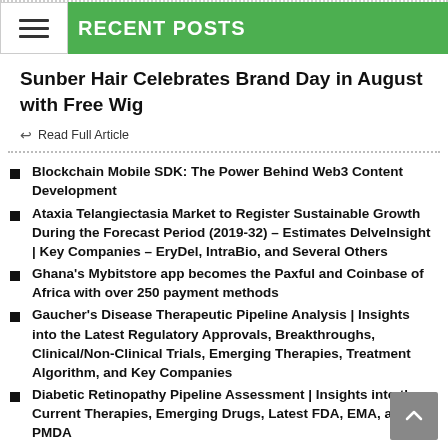RECENT POSTS
Sunber Hair Celebrates Brand Day in August with Free Wig
↩ Read Full Article
Blockchain Mobile SDK: The Power Behind Web3 Content Development
Ataxia Telangiectasia Market to Register Sustainable Growth During the Forecast Period (2019-32) – Estimates DelveInsight | Key Companies – EryDel, IntraBio, and Several Others
Ghana's Mybitstore app becomes the Paxful and Coinbase of Africa with over 250 payment methods
Gaucher's Disease Therapeutic Pipeline Analysis | Insights into the Latest Regulatory Approvals, Breakthroughs, Clinical/Non-Clinical Trials, Emerging Therapies, Treatment Algorithm, and Key Companies
Diabetic Retinopathy Pipeline Assessment | Insights into the Current Therapies, Emerging Drugs, Latest FDA, EMA, and PMDA